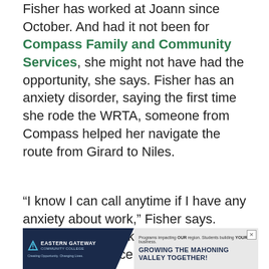Fisher has worked at Joann since October. And had it not been for Compass Family and Community Services, she might not have had the opportunity, she says. Fisher has an anxiety disorder, saying the first time she rode the WRTA, someone from Compass helped her navigate the route from Girard to Niles.
“I know I can call anytime if I have any anxiety about work,” Fisher says. “They can help talk me through that, which is really nice.”
[Figure (other): Eastern Gateway Community College advertisement banner. Left side: dark navy background with Eastern Gateway Community College logo and text 'Creating Opportunity, Changing Lives'. Right side: light gray background with text 'Programs impacting OUR region. Students building YOUR business.' and bold text 'GROWING THE MAHONING VALLEY TOGETHER!' with a close/X button.]